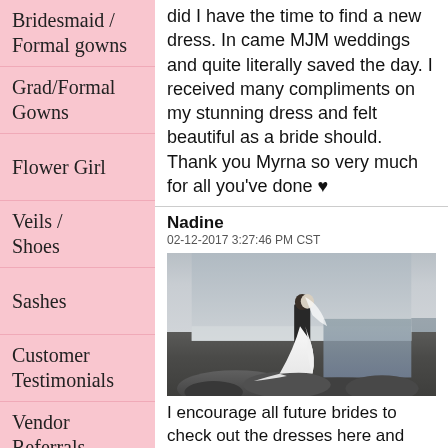Bridesmaid / Formal gowns
Grad/Formal Gowns
Flower Girl
Veils / Shoes
Sashes
Customer Testimonials
Vendor Referrals -
did I have the time to find a new dress. In came MJM weddings and quite literally saved the day. I received many compliments on my stunning dress and felt beautiful as a bride should. Thank you Myrna so very much for all you've done ♥
Nadine
02-12-2017 3:27:46 PM CST
[Figure (photo): A bride in a white ballgown and groom in dark suit kissing on rocky coastal landscape with misty ocean background]
I encourage all future brides to check out the dresses here and